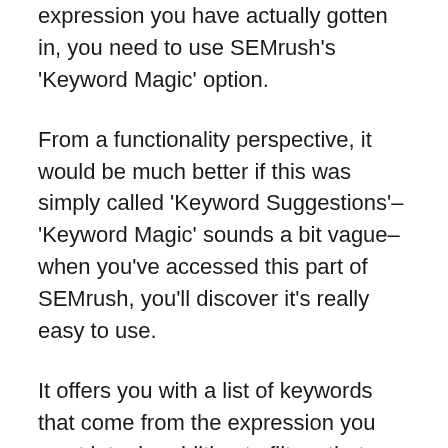expression you have actually gotten in, you need to use SEMrush's 'Keyword Magic' option.
From a functionality perspective, it would be much better if this was simply called 'Keyword Suggestions'– 'Keyword Magic' sounds a bit vague– when you've accessed this part of SEMrush, you'll discover it's really easy to use.
It offers you with a list of keywords that come from the expression you went into, in addition to filters that you can use to arrange them, consisting of:.
the keyword trouble.